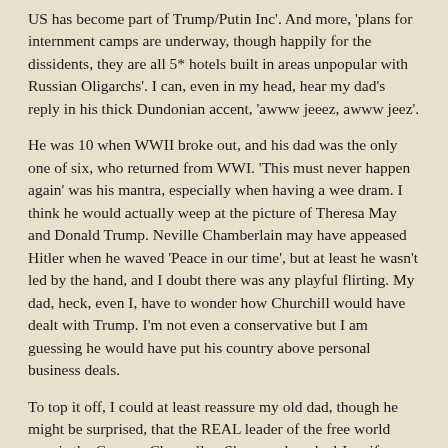US has become part of Trump/Putin Inc'.  And more, 'plans for internment camps are underway, though happily for the dissidents, they are all 5* hotels built in areas unpopular with Russian Oligarchs'.  I can, even in my head, hear my dad's reply in his thick Dundonian accent, 'awww jeeez, awww jeez'.
He was 10 when WWII broke out, and his dad was the only one of six, who returned from WWI.  'This must never happen again' was his mantra, especially when having a wee dram.  I think he would actually weep at the picture of Theresa May and Donald Trump. Neville Chamberlain may have appeased Hitler when he waved 'Peace in our time', but at least he wasn't led by the hand, and I doubt there was any playful flirting.  My dad, heck, even I, have to wonder how Churchill would have dealt with Trump.  I'm not even a conservative but I am guessing he would have put his country above personal business deals.
To top it off, I could at least reassure my old dad, though he might be surprised, that the REAL leader of the free world now is the German Chancellor.  She even knocked Jennifer Lawrence off the top of list of Formidable Women (my highest compliment). And for those female Labour MPs hiding in panic rooms and crying